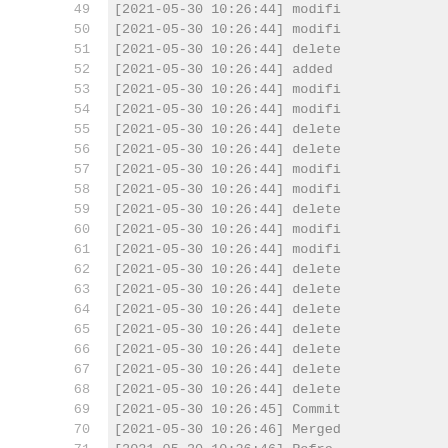49   [2021-05-30 10:26:44] modifi
50   [2021-05-30 10:26:44] modifi
51   [2021-05-30 10:26:44] delete
52   [2021-05-30 10:26:44] added
53   [2021-05-30 10:26:44] modifi
54   [2021-05-30 10:26:44] modifi
55   [2021-05-30 10:26:44] delete
56   [2021-05-30 10:26:44] delete
57   [2021-05-30 10:26:44] modifi
58   [2021-05-30 10:26:44] modifi
59   [2021-05-30 10:26:44] delete
60   [2021-05-30 10:26:44] modifi
61   [2021-05-30 10:26:44] modifi
62   [2021-05-30 10:26:44] delete
63   [2021-05-30 10:26:44] delete
64   [2021-05-30 10:26:44] delete
65   [2021-05-30 10:26:44] delete
66   [2021-05-30 10:26:44] delete
67   [2021-05-30 10:26:44] delete
68   [2021-05-30 10:26:44] delete
69   [2021-05-30 10:26:45] Commit
70   [2021-05-30 10:26:46] Merged
71   [2021-05-30 10:26:46] Refre